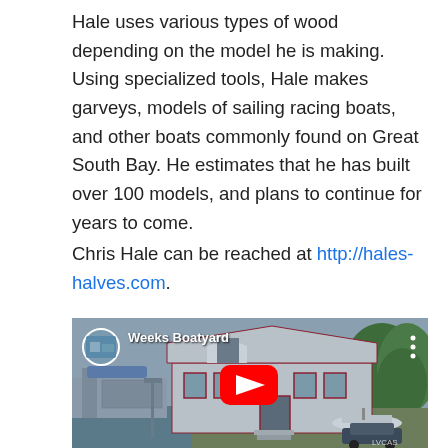Hale uses various types of wood depending on the model he is making. Using specialized tools, Hale makes garveys, models of sailing racing boats, and other boats commonly found on Great South Bay. He estimates that he has built over 100 models, and plans to continue for years to come.
Chris Hale can be reached at http://hales-halves.com.
[Figure (screenshot): YouTube video embed showing 'Weeks Boatyard' with a red play button over an image of a boatyard building. A circular channel icon thumbnail is in the top left and three dots menu in the top right.]